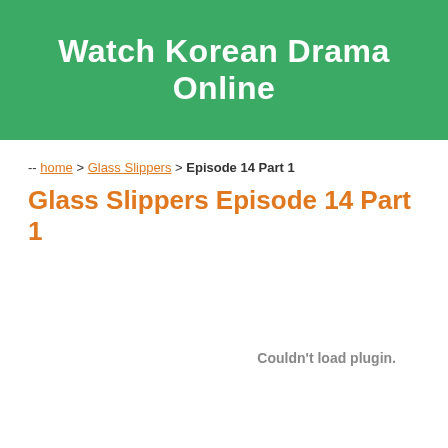Watch Korean Drama Online
-- home > Glass Slippers > Episode 14 Part 1
Glass Slippers Episode 14 Part 1
Couldn't load plugin.